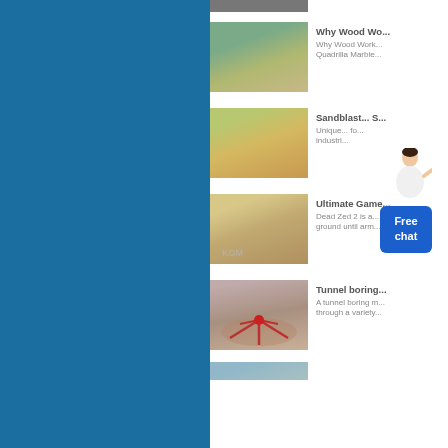[Figure (photo): Top partial image strip - mining/industrial site]
[Figure (photo): Aerial view of large mining quarry with green hills in background]
Why Wood Wo...
Why Wood Work... Quadrilla Marble...
[Figure (photo): Industrial mining site with yellow machinery and arid landscape]
Sandblast... S...
Unique... fo... industri...
[Figure (infographic): Free chat button widget with female figure pointing]
[Figure (photo): Construction or quarry site with KGM watermark]
Ultimate Game...
Dead Zed 2 is a... ground until arm...
[Figure (photo): Aerial view of tunnel boring or drilling rig in rocky pit]
Tunnel boring...
A tunnel boring m... through a variety...
[Figure (photo): Bottom partial image - mining site]